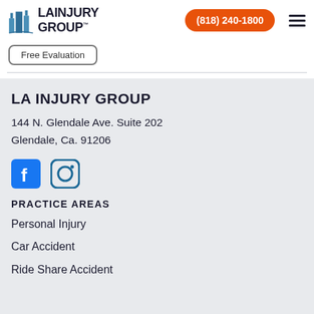LA INJURY GROUP | (818) 240-1800
Free Evaluation
LA INJURY GROUP
144 N. Glendale Ave. Suite 202
Glendale, Ca. 91206
[Figure (logo): Facebook and Instagram social media icons]
PRACTICE AREAS
Personal Injury
Car Accident
Ride Share Accident